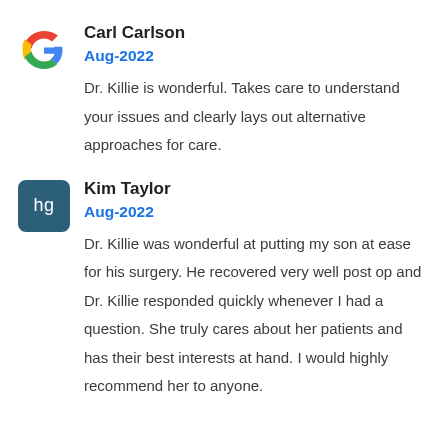[Figure (logo): Google G logo icon]
Carl Carlson
Aug-2022
Dr. Killie is wonderful. Takes care to understand your issues and clearly lays out alternative approaches for care.
[Figure (logo): hg logo icon - dark teal rounded square with letters hg]
Kim Taylor
Aug-2022
Dr. Killie was wonderful at putting my son at ease for his surgery. He recovered very well post op and Dr. Killie responded quickly whenever I had a question. She truly cares about her patients and has their best interests at hand. I would highly recommend her to anyone.